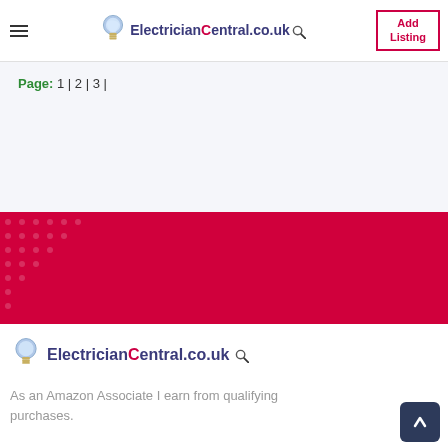ElectricianCentral.co.uk | Add Listing
Page: 1 | 2 | 3 |
[Figure (other): Red/crimson banner with decorative dot pattern on left side]
[Figure (logo): ElectricianCentral.co.uk logo with light bulb icon]
As an Amazon Associate I earn from qualifying purchases.